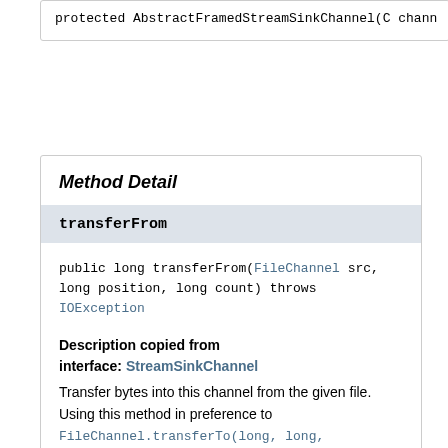protected AbstractFramedStreamSinkChannel(C chann
Method Detail
transferFrom
public long transferFrom(FileChannel src,
                         long position,
                         long count)
                  throws IOException
Description copied from interface: StreamSinkChannel
Transfer bytes into this channel from the given file. Using this method in preference to FileChannel.transferTo(long, long, WritableByteChannel) may provide a performance advantage on some platforms.
If the current thread is interrupted when this